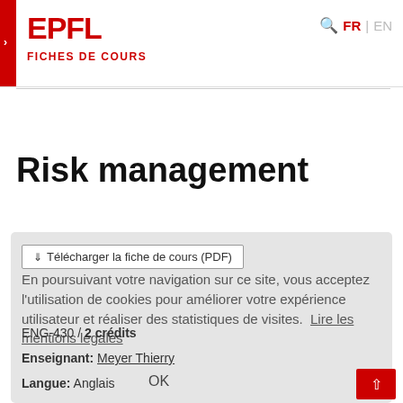EPFL — FICHES DE COURS
Risk management
Télécharger la fiche de cours (PDF)
En poursuivant votre navigation sur ce site, vous acceptez l'utilisation de cookies pour améliorer votre expérience utilisateur et réaliser des statistiques de visites. Lire les mentions légales
ENG-430 / 2 crédits
Enseignant: Meyer Thierry
Langue: Anglais
OK